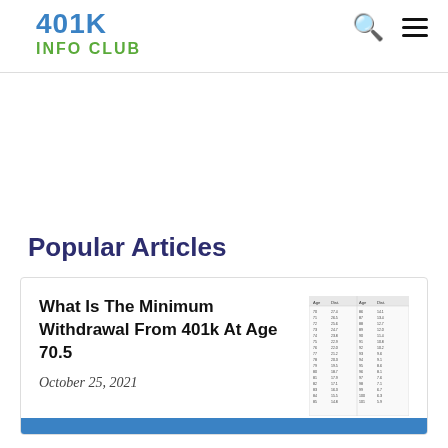401K INFO CLUB
Popular Articles
What Is The Minimum Withdrawal From 401k At Age 70.5
October 25, 2021
[Figure (table-as-image): A small table image showing RMD (Required Minimum Distribution) data with age and distribution period columns.]